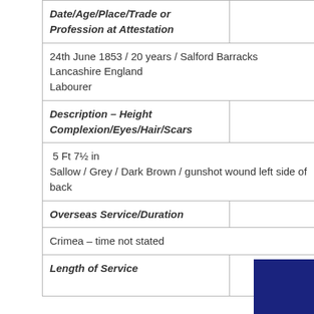| Date/Age/Place/Trade or Profession at Attestation |  |
| 24th June 1853 / 20 years / Salford Barracks Lancashire England Labourer |  |
| Description – Height Complexion/Eyes/Hair/Scars |  |
| 5 Ft 7½ in Sallow / Grey / Dark Brown / gunshot wound left side of back |  |
| Overseas Service/Duration |  |
| Crimea – time not stated |  |
| Length of Service |  |